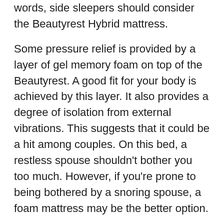words, side sleepers should consider the Beautyrest Hybrid mattress.
Some pressure relief is provided by a layer of gel memory foam on top of the Beautyrest. A good fit for your body is achieved by this layer. It also provides a degree of isolation from external vibrations. This suggests that it could be a hit among couples. On this bed, a restless spouse shouldn't bother you too much. However, if you're prone to being bothered by a snoring spouse, a foam mattress may be the better option.
Comparing Saatva and